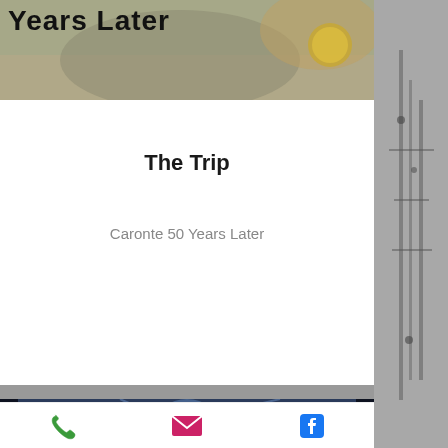[Figure (illustration): Partial album artwork showing 'Years Later' text with classical figure holding a coin, muted tones]
The Trip
Caronte 50 Years Later
[Figure (illustration): Album cover 'The Blue Door' featuring multiple female faces with flowing blue hair in art nouveau style]
[Figure (illustration): Right panel showing dark monochrome illustration of figures on structure]